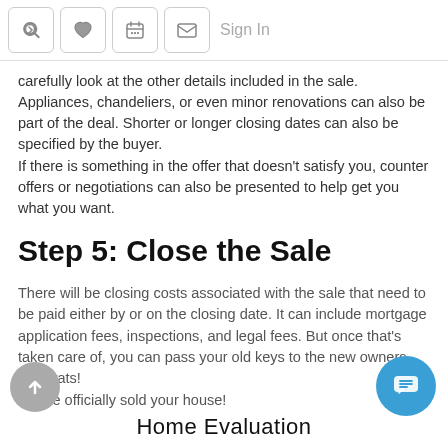[home icon] [heart icon] [calendar icon] [mail icon] Sign In
carefully look at the other details included in the sale. Appliances, chandeliers, or even minor renovations can also be part of the deal. Shorter or longer closing dates can also be specified by the buyer.
If there is something in the offer that doesn't satisfy you, counter offers or negotiations can also be presented to help get you what you want.
Step 5: Close the Sale
There will be closing costs associated with the sale that need to be paid either by or on the closing date. It can include mortgage application fees, inspections, and legal fees. But once that's taken care of, you can pass your old keys to the new owners. Congrats!
You've officially sold your house!
Home Evaluation